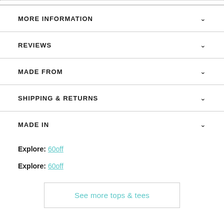MORE INFORMATION
REVIEWS
MADE FROM
SHIPPING & RETURNS
MADE IN
Explore: 60off
Explore: 60off
See more tops & tees